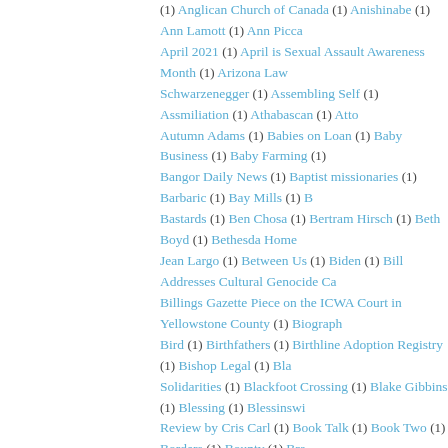(1) Anglican Church of Canada (1) Anishinabe (1) Ann Lamott (1) Ann Picca April 2021 (1) April is Sexual Assault Awareness Month (1) Arizona Law Schwarzenegger (1) Assembling Self (1) Assmiliation (1) Athabascan (1) Atto Autumn Adams (1) Babies on Loan (1) Baby Business (1) Baby Farming (1) Bangor Daily News (1) Baptist missionaries (1) Barbaric (1) Bay Mills (1) B Bastards (1) Ben Chosa (1) Bertram Hirsch (1) Beth Boyd (1) Bethesda Home Jean Largo (1) Between Us (1) Biden (1) Bill Addresses Cultural Genocide Ca Billings Gazette Piece on the ICWA Court in Yellowstone County (1) Biograph Bird (1) Birthfathers (1) Birthline Adoption Registry (1) Bishop Legal (1) Bla Solidarities (1) Blackfoot Crossing (1) Blake Gibbins (1) Blessing (1) Blessinswi Review by Cris Carl (1) Book Talk (1) Book Two (1) Borders (1) Bounty (1) Bra School (1) Breakfast in Pluto (1) Breaking Silence (1) Breaking the Silence (1 Chidren Home (1) British Columbia Class Action lawsuit (1) British news Broken Spirits (1) Brooke Swaney (1) Brule Lakota (1) Bryan Newland (1) Bu Nation. (1) Burning In This Midnight Dream (1) Burying (1) CASA (1) CBS Calgary (1) Calling All Poets (1) Camsell site (1) Can You Hear Me Now? (1) C (1) Canadian History/Studies (1) Canadian Human Rights Commission (1) C Canadian Museum of Human Rights (1) Cannons attackman Lyle Thomp Capitol Coalition for Adoptee Rights (1) Carlisle Indian School Connec Foundation (1) CashBack (1) Cast Off (1) Catharine Robertson (1) Catholi Cecelia Reekie (1) Cecily Hilleary (1) Celeste Billhartz (1) Census (1) Challer Children (1) Change.org petition (1) Chanie Wenjack (1) Charles Camsell I School (1) Cheyenne River Sioux (1) Chickasaw (1) Chief Adam Dick (1) C Children of the Dragonfly (1) Children's Village of foster homes (1) Chile (1 Chinook (1) Chloe Zhao (1) Choctaw (1) Chris (1) Chris Benjamin (1) Christi